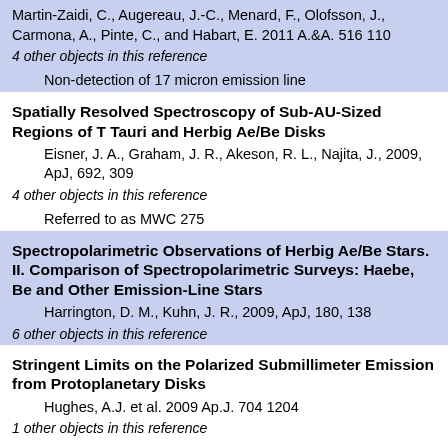Martin-Zaidi, C., Augereau, J.-C., Menard, F., Olofsson, J., Carmona, A., Pinte, C., and Habart, E. 2011 A.&A. 516 110
4 other objects in this reference
Non-detection of 17 micron emission line
Spatially Resolved Spectroscopy of Sub-AU-Sized Regions of T Tauri and Herbig Ae/Be Disks
Eisner, J. A., Graham, J. R., Akeson, R. L., Najita, J., 2009, ApJ, 692, 309
4 other objects in this reference
Referred to as MWC 275
Spectropolarimetric Observations of Herbig Ae/Be Stars. II. Comparison of Spectropolarimetric Surveys: Haebe, Be and Other Emission-Line Stars
Harrington, D. M., Kuhn, J. R., 2009, ApJ, 180, 138
6 other objects in this reference
Stringent Limits on the Polarized Submillimeter Emission from Protoplanetary Disks
Hughes, A.J. et al. 2009 Ap.J. 704 1204
1 other objects in this reference